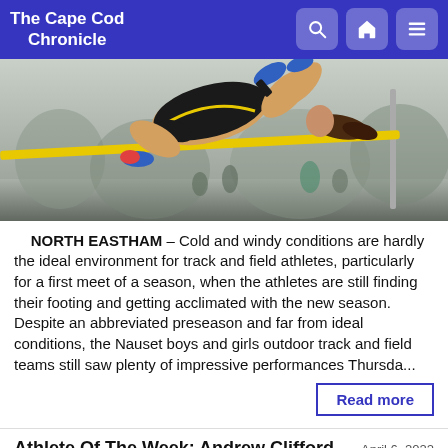The Cape Cod Chronicle
[Figure (photo): Athlete performing a high jump over a yellow crossbar outdoors, viewed from the side. The jumper is arching over the bar.]
NORTH EASTHAM – Cold and windy conditions are hardly the ideal environment for track and field athletes, particularly for a first meet of a season, when the athletes are still finding their footing and getting acclimated with the new season. Despite an abbreviated preseason and far from ideal conditions, the Nauset boys and girls outdoor track and field teams still saw plenty of impressive performances Thursda...
Read more
Athlete Of The Week: Andrew Clifford
April 6, 2022